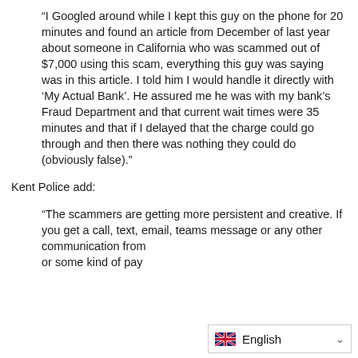“I Googled around while I kept this guy on the phone for 20 minutes and found an article from December of last year about someone in California who was scammed out of $7,000 using this scam, everything this guy was saying was in this article. I told him I would handle it directly with ‘My Actual Bank’. He assured me he was with my bank’s Fraud Department and that current wait times were 35 minutes and that if I delayed that the charge could go through and then there was nothing they could do (obviously false).”
Kent Police add:
“The scammers are getting more persistent and creative. If you get a call, text, email, teams message or any other communication from [someone claiming] or some kind of pay [something]...